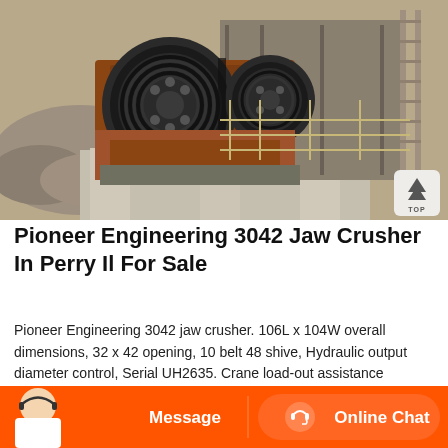[Figure (photo): Industrial jaw crusher machine (Pioneer Engineering 3042) installed at a quarry/construction site. Large orange/rust-colored crusher with pulleys and belts, surrounded by concrete pillars, metal railings, and rocky terrain in the background.]
Pioneer Engineering 3042 Jaw Crusher In Perry Il For Sale
Pioneer Engineering 3042 jaw crusher. 106L x 104W overall dimensions, 32 x 42 opening, 10 belt 48 shive, Hydraulic output diameter control, Serial UH2635. Crane load-out assistance available for additional fee. Please contact seller for details. Callender Construction. Perry, IL 62362
[Figure (photo): Chat bar at the bottom with an orange background, a customer service representative (woman with headset), a Message button, and an Online Chat button with a headset icon.]